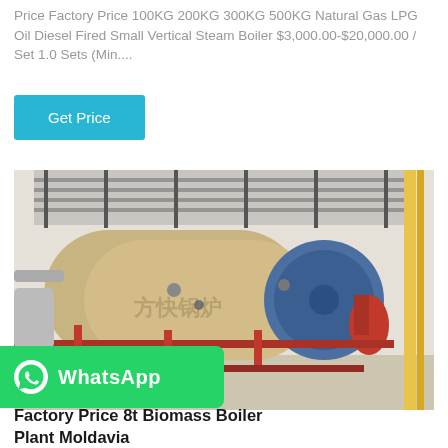Price Factory Price 100KG 200KG 300KG 500KG Natural Gas LPG Oil Diesel Fired Small Vertical Steam Boiler $3,000.00-$20,000.00 / Set 1.0 Sets (Min....
Get Price
[Figure (photo): Industrial boiler installation showing large horizontal cylindrical steam boilers (beige/tan color) with blue front panels, red piping, yellow vertical pipes, metal walkway grating above, in an industrial building.]
[Figure (logo): WhatsApp green button/banner with WhatsApp icon and text 'WhatsApp']
Factory Price 8t Biomass Boiler Plant Moldavia